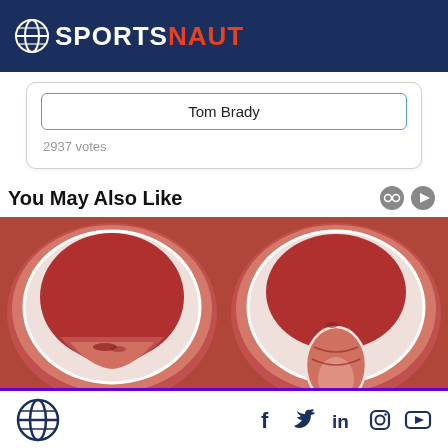SPORTSNAUT
Tom Brady
2937 votes
You May Also Like
[Figure (illustration): Two medical cross-section illustrations showing anatomical diagrams (bladder/bowel cross-sections), side by side, with pinkish-red tones on white background.]
Sportsnaut logo and social media icons: Facebook, Twitter, LinkedIn, Instagram, YouTube